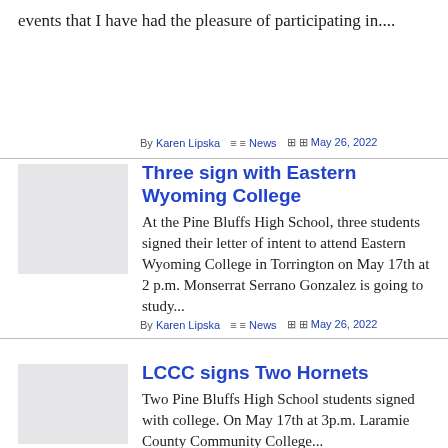events that I have had the pleasure of participating in....
By Karen Lipska  ≡ News  ⊞ May 26, 2022
Three sign with Eastern Wyoming College
At the Pine Bluffs High School, three students signed their letter of intent to attend Eastern Wyoming College in Torrington on May 17th at 2 p.m. Monserrat Serrano Gonzalez is going to study...
By Karen Lipska  ≡ News  ⊞ May 26, 2022
LCCC signs Two Hornets
Two Pine Bluffs High School students signed with college. On May 17th at 3p.m. Laramie County Community College...